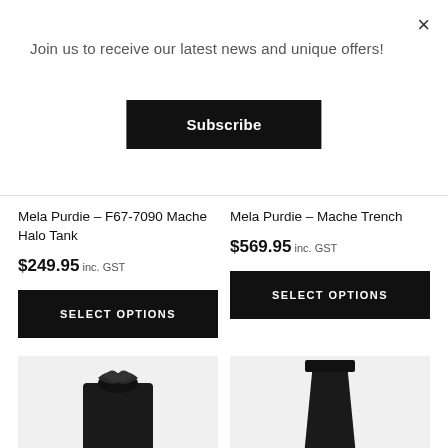Join us to receive our latest news and unique offers!
Subscribe
Mela Purdie – F67-7090 Mache Halo Tank
$249.95 inc. GST
SELECT OPTIONS
Mela Purdie – Mache Trench
$569.95 inc. GST
SELECT OPTIONS
[Figure (photo): Black clothing item - top/jacket with ruffled collar]
[Figure (photo): Black clothing item - skirt/pants]